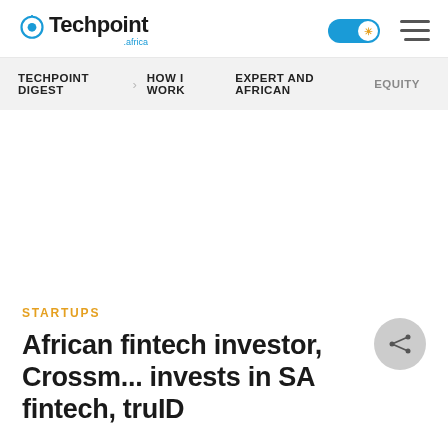Techpoint Africa
TECHPOINT DIGEST | HOW I WORK | EXPERT AND AFRICAN | EQUITY
STARTUPS
African fintech investor, Crossm... invests in SA fintech, truID